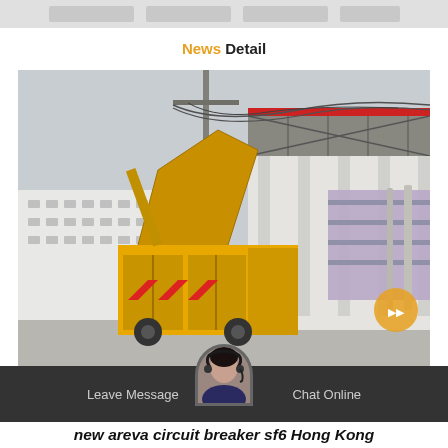News Detail
[Figure (photo): Yellow heavy equipment truck/vehicle parked near a large industrial facility with overhead power lines, steel structures, and wrapped cargo. Construction site environment.]
Leave Message   Chat Online   new areva circuit breaker sf6 Hong Kong